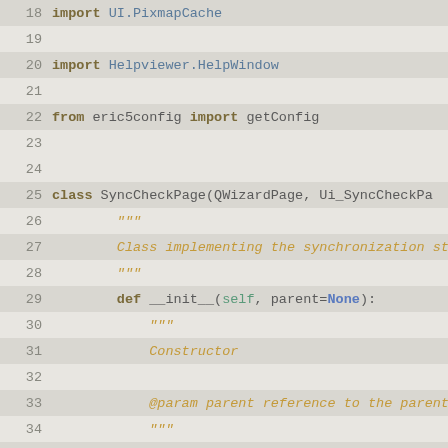[Figure (screenshot): Python source code editor view showing lines 18-43 with syntax highlighting. Lines include import statements, class definition for SyncCheckPage, and method definitions __init__ and initializePage.]